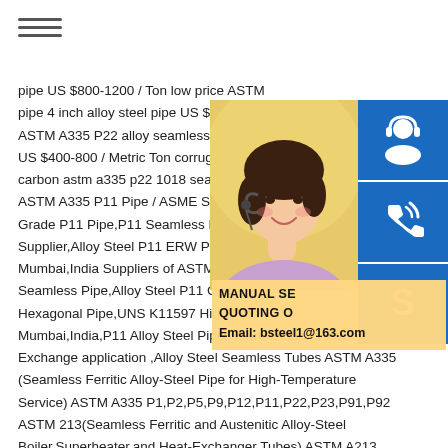[Figure (other): Hamburger menu icon (three horizontal lines)]
pipe US $800-1200 / Ton low price ASTM pipe 4 inch alloy steel pipe US $580.0-65 ASTM A335 P22 alloy seamless steam b US $400-800 / Metric Ton corrugated cu carbon astm a335 p22 1018 seamless s ASTM A335 P11 Pipe / ASME SA335 P1 Grade P11 Pipe,P11 Seamless Pipe,AS Supplier,Alloy Steel P11 ERW Pipe Supp Mumbai,India Suppliers of ASTM A335 A Seamless Pipe,Alloy Steel P11 Chrome Hexagonal Pipe,UNS K11597 High Pres Mumbai,India,P11 Alloy Steel Pipes Manufacturer.Heat Exchange application ,Alloy Steel Seamless Tubes ASTM A335 (Seamless Ferritic Alloy-Steel Pipe for High-Temperature Service) ASTM A335 P1,P2,P5,P9,P12,P11,P22,P23,P91,P92 ASTM 213(Seamless Ferritic and Austenitic Alloy-Steel Boiler,Superheater,and Heat-Exchanger Tubes) ASTM A213 T1,T2,T11,T5,T9,T22,T23,T91,T92 ASTM A335 Seamless
[Figure (photo): Woman with headset smiling, customer service representative]
[Figure (other): Customer service icon (person with headset) on blue background]
[Figure (other): Phone/call icon on blue background]
[Figure (other): Skype icon on blue background]
MANUAL SE QUOTING O Email: bsteel1@163.com